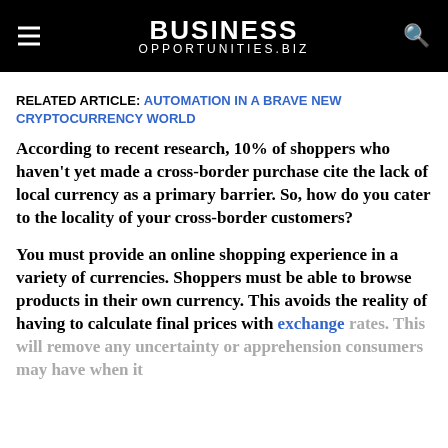BUSINESS OPPORTUNITIES.BIZ
RELATED ARTICLE: AUTOMATION IN A BRAVE NEW CRYPTOCURRENCY WORLD
According to recent research, 10% of shoppers who haven't yet made a cross-border purchase cite the lack of local currency as a primary barrier. So, how do you cater to the locality of your cross-border customers?
You must provide an online shopping experience in a variety of currencies. Shoppers must be able to browse products in their own currency. This avoids the reality of having to calculate final prices with exchange rates. This will remove any uncertainty or apprehension consumers may have when it